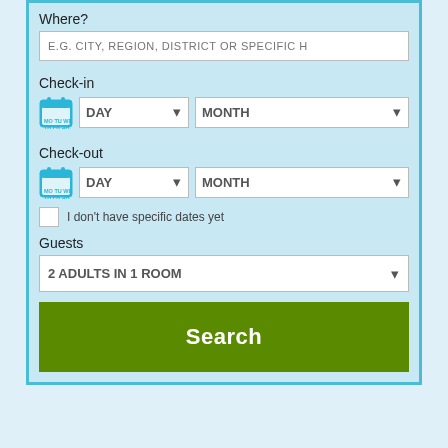Where?
E.G. CITY, REGION, DISTRICT OR SPECIFIC H
Check-in
DAY
MONTH
Check-out
DAY
MONTH
I don't have specific dates yet
Guests
2 ADULTS IN 1 ROOM
Search